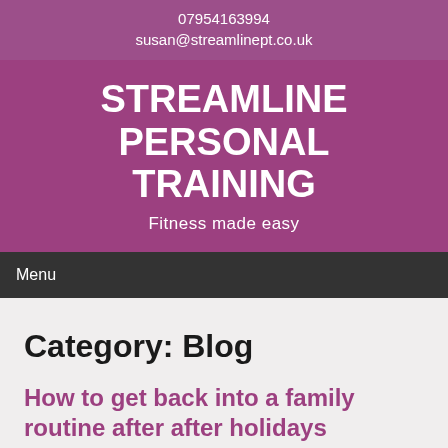07954163994
susan@streamlinept.co.uk
STREAMLINE PERSONAL TRAINING
Fitness made easy
Menu
Category: Blog
How to get back into a family routine after after holidays